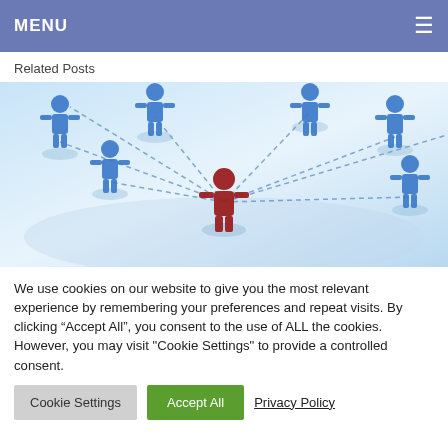MENU
Related Posts
[Figure (illustration): Network of blue human figure icons connected by dashed lines on a light blue surface, with one red human figure in the center]
We use cookies on our website to give you the most relevant experience by remembering your preferences and repeat visits. By clicking “Accept All”, you consent to the use of ALL the cookies. However, you may visit "Cookie Settings" to provide a controlled consent.
Cookie Settings | Accept All | Privacy Policy